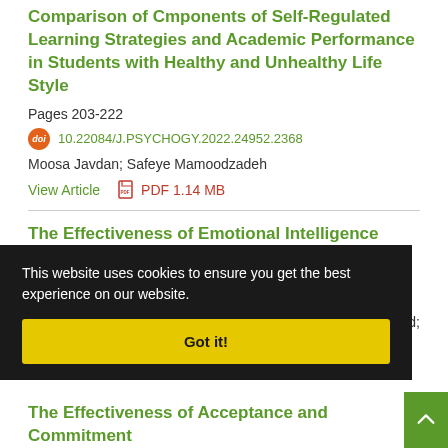Comparison of Cmponents of Self-Regulated Learning Strategies and Academic Performance in Students with Healthy and Unhealthy Life Style
Pages 203-222
10.22084/J.PSYCHOGY.2022.24952.2368
Moosa Javdan; Safeye Mamoodzadeh
View Article    PDF 1.14 MB
The Effectiveness of Emotional Intelligence Skills Training on Academic Enthusiasm, Burnout and Self-Regulation in Prodigal Students
Pages 223-247
Nosratabad;
This website uses cookies to ensure you get the best experience on our website.
Got it!
The Effectiveness of Acceptance and Commitment